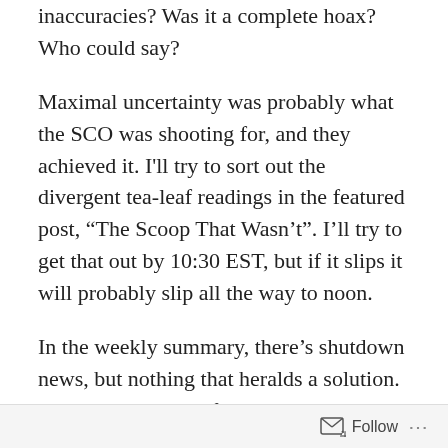inaccuracies? Was it a complete hoax? Who could say?
Maximal uncertainty was probably what the SCO was shooting for, and they achieved it. I'll try to sort out the divergent tea-leaf readings in the featured post, “The Scoop That Wasn’t”. I’ll try to get that out by 10:30 EST, but if it slips it will probably slip all the way to noon.
In the weekly summary, there’s shutdown news, but nothing that heralds a solution. Brexit continues to flounder; as I said a few weeks ago, all possible conclusions seem unlikely. (I’m reminded of a pregame show where a commentator joked, “I don’t think either of these teams can win this game.”) I can’t help commenting on the MAGA-hat-wearing teens who harassed the Native American elder on the Capitol Mall. An inspector general
Follow